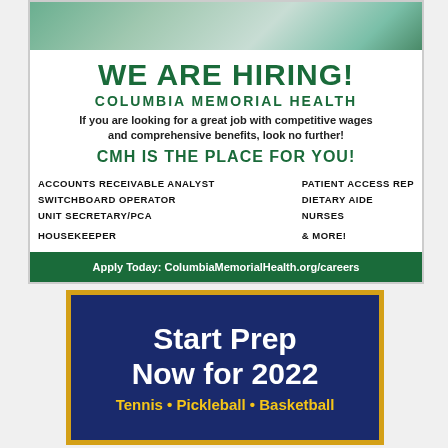[Figure (photo): Group photo of healthcare workers in scrubs smiling]
WE ARE HIRING!
COLUMBIA MEMORIAL HEALTH
If you are looking for a great job with competitive wages and comprehensive benefits, look no further!
CMH IS THE PLACE FOR YOU!
ACCOUNTS RECEIVABLE ANALYST
PATIENT ACCESS REP
SWITCHBOARD OPERATOR
DIETARY AIDE
UNIT SECRETARY/PCA
NURSES
HOUSEKEEPER
& MORE!
[Figure (logo): CMH Columbia Memorial Health logo with grid dots]
ALLENT AID Health System
Apply Today: ColumbiaMemorialHealth.org/careers
Start Prep Now for 2022
Tennis • Pickleball • Basketball